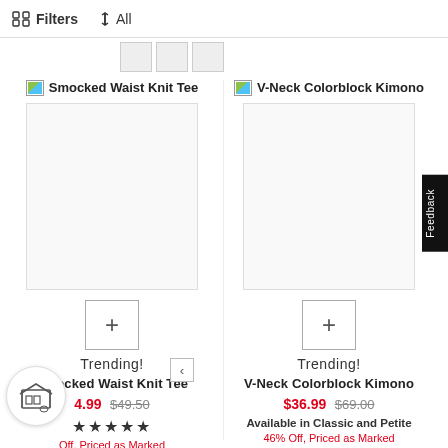Filters  ↑↓ All
[Figure (screenshot): E-commerce product listing page showing two products: Smocked Waist Knit Tee and V-Neck Colorblock Kimono with prices, ratings, and trending labels]
Smocked Waist Knit Tee
V-Neck Colorblock Kimono
Trending!
Trending!
Smocked Waist Knit Tee
V-Neck Colorblock Kimono
$4.99  $49.50
$36.99  $69.00
★★★★★
Off, Priced as Marked
Available in Classic and Petite
46% Off, Priced as Marked
Feedback